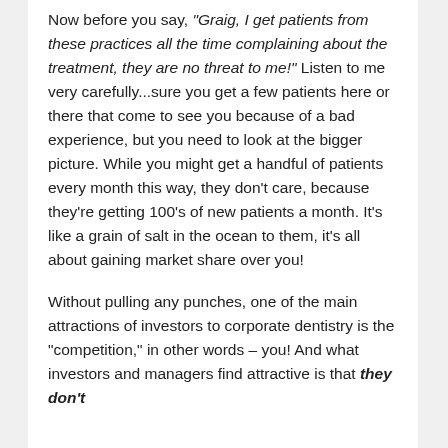Now before you say, "Graig, I get patients from these practices all the time complaining about the treatment, they are no threat to me!" Listen to me very carefully...sure you get a few patients here or there that come to see you because of a bad experience, but you need to look at the bigger picture. While you might get a handful of patients every month this way, they don't care, because they're getting 100's of new patients a month. It's like a grain of salt in the ocean to them, it's all about gaining market share over you!
Without pulling any punches, one of the main attractions of investors to corporate dentistry is the "competition," in other words – you! And what investors and managers find attractive is that they don't